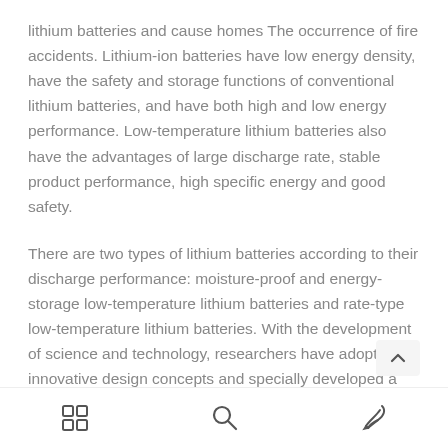lithium batteries and cause homes The occurrence of fire accidents. Lithium-ion batteries have low energy density, have the safety and storage functions of conventional lithium batteries, and have both high and low energy performance. Low-temperature lithium batteries also have the advantages of large discharge rate, stable product performance, high specific energy and good safety.
There are two types of lithium batteries according to their discharge performance: moisture-proof and energy-storage low-temperature lithium batteries and rate-type low-temperature lithium batteries. With the development of science and technology, researchers have adopted innovative design concepts and specially developed a special battery for the low temperature defects inherent in the performance of chemical power sources. Using
[grid icon] [search icon] [edit icon]